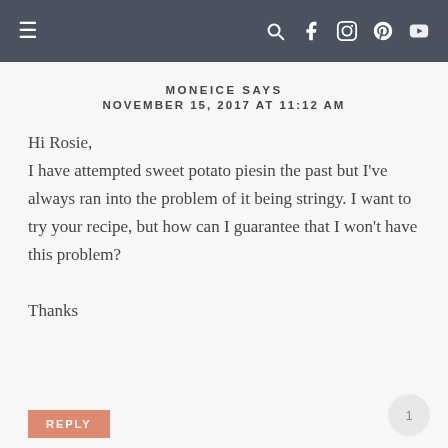≡  [search] [facebook] [instagram] [pinterest] [youtube]
MONEICE SAYS
NOVEMBER 15, 2017 AT 11:12 AM
Hi Rosie,
I have attempted sweet potato piesin the past but I've always ran into the problem of it being stringy. I want to try your recipe, but how can I guarantee that I won't have this problem?

Thanks
REPLY